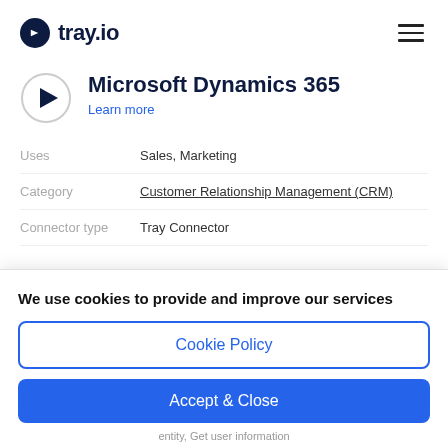tray.io
Microsoft Dynamics 365
Learn more
| Field | Value |
| --- | --- |
| Uses | Sales, Marketing |
| Category | Customer Relationship Management (CRM) |
| Connector type | Tray Connector |
We use cookies to provide and improve our services
Cookie Policy
Accept & Close
entity, Get user information